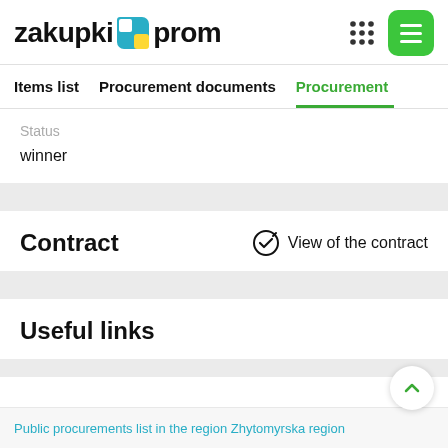zakupki prom
Items list   Procurement documents   Procurement
Status
winner
Contract
View of the contract
Useful links
Public procurements list in the region Zhytomyrska region